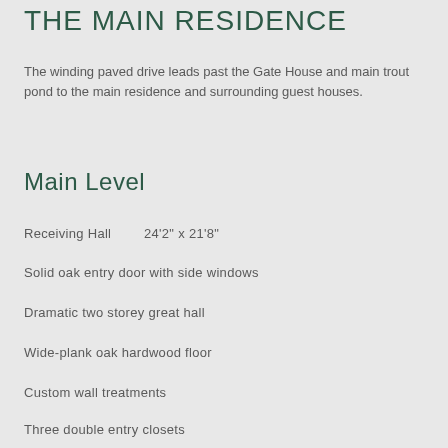THE MAIN RESIDENCE
The winding paved drive leads past the Gate House and main trout pond to the main residence and surrounding guest houses.
Main Level
Receiving Hall      24'2" x 21'8"
Solid oak entry door with side windows
Dramatic two storey great hall
Wide-plank oak hardwood floor
Custom wall treatments
Three double entry closets